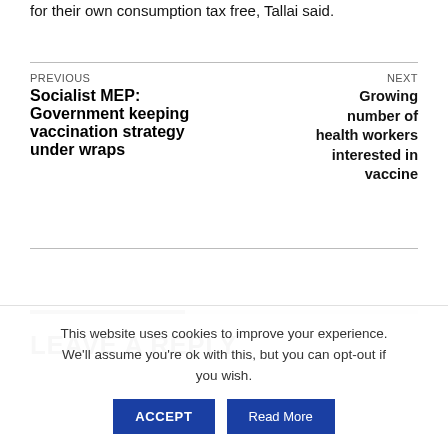for their own consumption tax free, Tallai said.
PREVIOUS
Socialist MEP: Government keeping vaccination strategy under wraps
NEXT
Growing number of health workers interested in vaccine
LEAVE A REPLY
This website uses cookies to improve your experience. We'll assume you're ok with this, but you can opt-out if you wish.